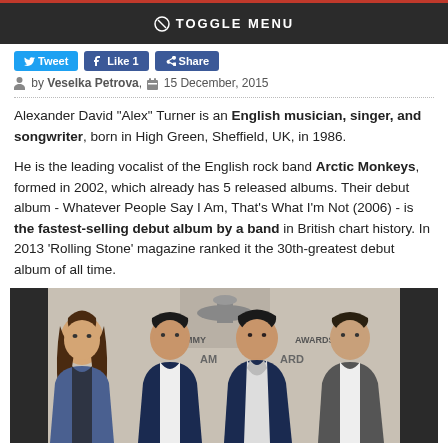TOGGLE MENU
Tweet  Like 1  Share
by Veselka Petrova, 15 December, 2015
Alexander David "Alex" Turner is an English musician, singer, and songwriter, born in High Green, Sheffield, UK, in 1986.

He is the leading vocalist of the English rock band Arctic Monkeys, formed in 2002, which already has 5 released albums. Their debut album - Whatever People Say I Am, That's What I'm Not (2006) - is the fastest-selling debut album by a band in British chart history. In 2013 'Rolling Stone' magazine ranked it the 30th-greatest debut album of all time.
[Figure (photo): Four young men in suits posing at what appears to be a Grammy Awards event, identified as the Arctic Monkeys band members.]